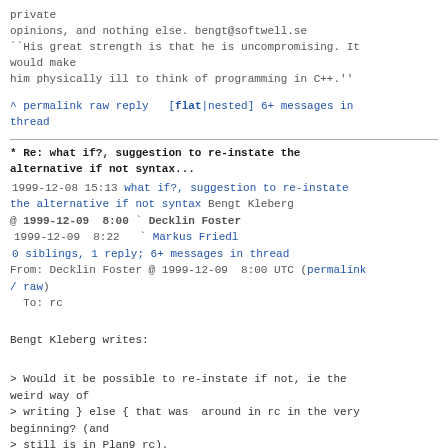private
opinions, and nothing else. bengt@softwell.se
``His great strength is that he is uncompromising. It would make
him physically ill to think of programming in C++.''
^ permalink raw reply   [flat|nested] 6+ messages in thread
* Re: what if?, suggestion to re-instate the alternative if not syntax...
1999-12-08 15:13 what if?, suggestion to re-instate the alternative if not syntax Bengt Kleberg
@ 1999-12-09  8:00 ` Decklin Foster
  1999-12-09  8:22   ` Markus Friedl
  0 siblings, 1 reply; 6+ messages in thread
From: Decklin Foster @ 1999-12-09  8:00 UTC (permalink / raw)
  To: rc
Bengt Kleberg writes:
> Would it be possible to re-instate if not, ie the weird way of
> writing } else { that was  around in rc in the very beginning? (and
> still is in Plan9 rc).